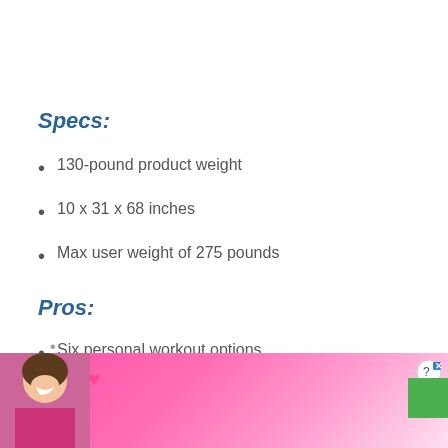Specs:
130-pound product weight
10 x 31 x 68 inches
Max user weight of 275 pounds
Pros:
Six personal workout options
Comes installed with a built-in heart rate monitor
[Figure (other): Advertisement banner for 'Meet With Local Singles' by Clover app, showing a woman smiling with hearts, pink background, with close button]